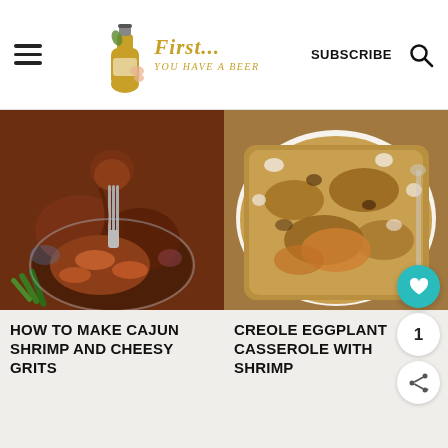First... You Have a Beer | SUBSCRIBE
[Figure (photo): Close-up photo of Cajun shrimp and cheesy grits in a bowl, with a fork lifting a piece]
[Figure (photo): Close-up overhead photo of Creole eggplant casserole with shrimp in a white baking dish]
HOW TO MAKE CAJUN SHRIMP AND CHEESY GRITS
CREOLE EGGPLANT CASSEROLE WITH SHRIMP